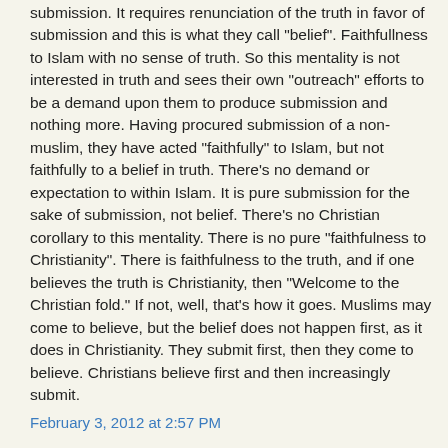submission. It requires renunciation of the truth in favor of submission and this is what they call "belief". Faithfullness to Islam with no sense of truth. So this mentality is not interested in truth and sees their own "outreach" efforts to be a demand upon them to produce submission and nothing more. Having procured submission of a non-muslim, they have acted "faithfully" to Islam, but not faithfully to a belief in truth. There's no demand or expectation to within Islam. It is pure submission for the sake of submission, not belief. There's no Christian corollary to this mentality. There is no pure "faithfulness to Christianity". There is faithfulness to the truth, and if one believes the truth is Christianity, then "Welcome to the Christian fold." If not, well, that's how it goes. Muslims may come to believe, but the belief does not happen first, as it does in Christianity. They submit first, then they come to believe. Christians believe first and then increasingly submit.
February 3, 2012 at 2:57 PM
Dk said...